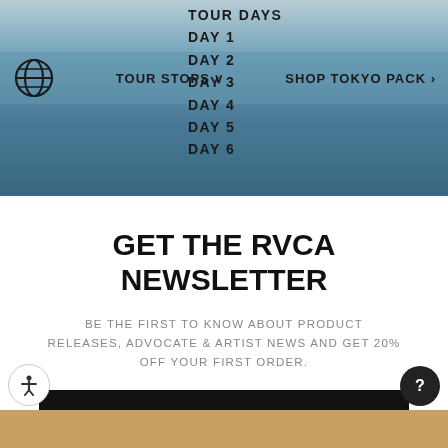[Figure (screenshot): RVCA website screenshot showing navigation bar with globe icon, TOUR STOPS dropdown, and SHOP TOKYO PACK link over a blue sky background. Dropdown menu shows: TOUR DAYS, DAY 1, DAY 2, DAY 3, DAY 4, DAY 5, DAY 6]
GET THE RVCA NEWSLETTER
BE THE FIRST TO KNOW ABOUT PRODUCT RELEASES, ADVOCATE & ARTIST NEWS AND GET 20% OFF YOUR FIRST ORDER.
SUBSCRIBE